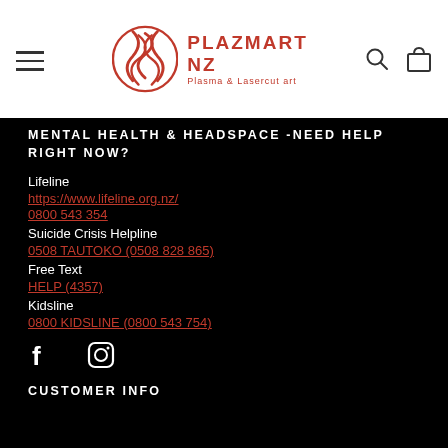[Figure (logo): Plazmart NZ logo with red circular plasma/wave emblem and text 'PLAZMART NZ / Plasma & Lasercut art']
MENTAL HEALTH & HEADSPACE -NEED HELP RIGHT NOW?
Lifeline
https://www.lifeline.org.nz/
0800 543 354
Suicide Crisis Helpline
0508 TAUTOKO (0508 828 865)
Free Text
HELP (4357)
Kidsline
0800 KIDSLINE (0800 543 754)
[Figure (illustration): Facebook and Instagram social media icons in white]
CUSTOMER INFO